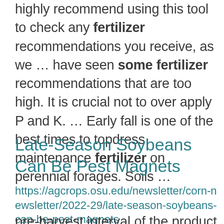highly recommend using this tool to check any fertilizer recommendations you receive, as we ... have seen some fertilizer recommendations that are too high. It is crucial not to over apply P and K. ... Early fall is one of the best times to topdress maintenance fertilizer on perennial forages. Soils ...
Late-Season Soybeans Can Be Pest Magnets
https://agcrops.osu.edu/newsletter/corn-newsletter/2022-29/late-season-soybeans-can-be-pest-magnets
pre-harvest interval of the product you're